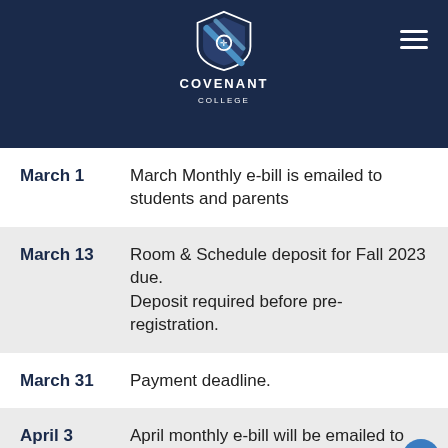Covenant College
March 1 — March Monthly e-bill is emailed to students and parents
March 13 — Room & Schedule deposit for Fall 2023 due. Deposit required before pre-registration.
March 31 — Payment deadline.
April 3 — April monthly e-bill will be emailed to students and parents
April 21 — Payment deadline. **All Spring